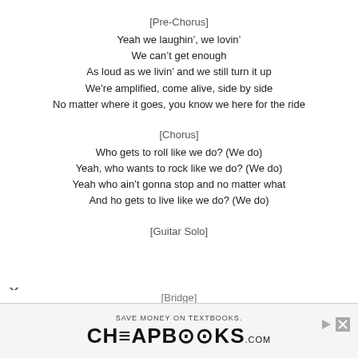[Pre-Chorus]
Yeah we laughin', we lovin'
We can't get enough
As loud as we livin' and we still turn it up
We're amplified, come alive, side by side
No matter where it goes, you know we here for the ride
[Chorus]
Who gets to roll like we do? (We do)
Yeah, who wants to rock like we do? (We do)
Yeah who ain't gonna stop and no matter what
And ho gets to live like we do? (We do)
[Guitar Solo]
[Bridge]
[Figure (other): Advertisement banner for CheapBooks.com with text 'SAVE MONEY ON TEXTBOOKS.' and large logo 'CHEAPBOOKS.COM']